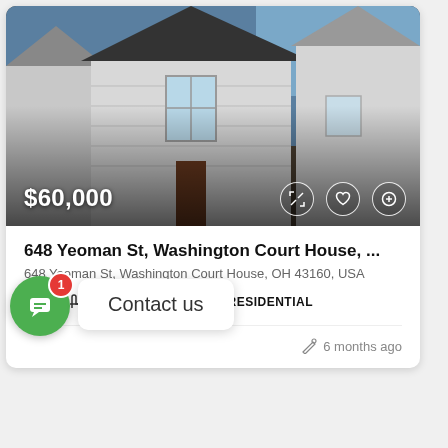[Figure (photo): Exterior photo of a white clapboard house with brown double-door entrance, bare winter lawn, and neighboring houses visible. Blue sky in background.]
$60,000
648 Yeoman St, Washington Court House, ...
648 Yeoman St, Washington Court House, OH 43160, USA
3  1.5  2240 Sq Ft  RESIDENTIAL
6 months ago